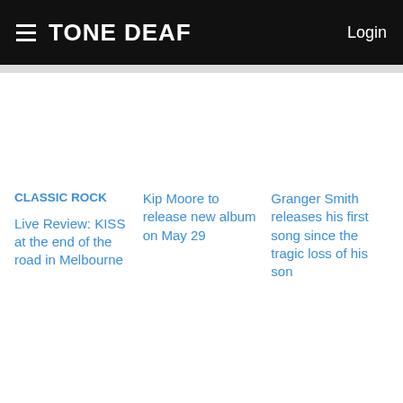TONE DEAF | Login
CLASSIC ROCK
Live Review: KISS at the end of the road in Melbourne
Kip Moore to release new album on May 29
Granger Smith releases his first song since the tragic loss of his son